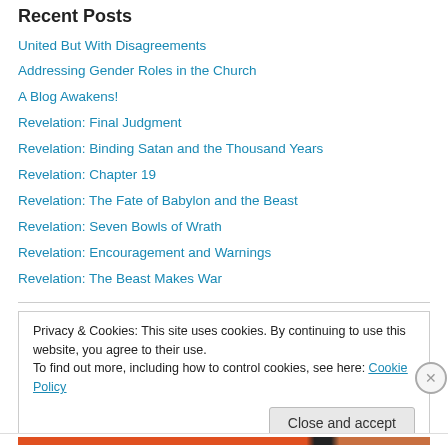Recent Posts
United But With Disagreements
Addressing Gender Roles in the Church
A Blog Awakens!
Revelation: Final Judgment
Revelation: Binding Satan and the Thousand Years
Revelation: Chapter 19
Revelation: The Fate of Babylon and the Beast
Revelation: Seven Bowls of Wrath
Revelation: Encouragement and Warnings
Revelation: The Beast Makes War
Privacy & Cookies: This site uses cookies. By continuing to use this website, you agree to their use. To find out more, including how to control cookies, see here: Cookie Policy
Close and accept